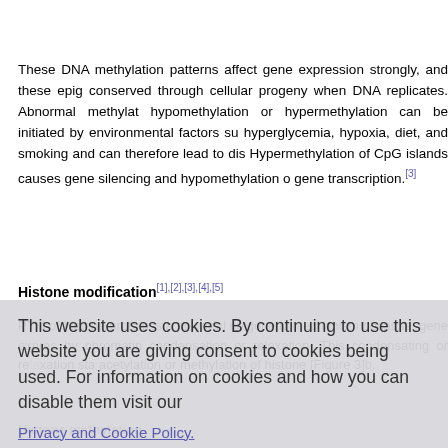These DNA methylation patterns affect gene expression strongly, and these epigenetic marks are conserved through cellular progeny when DNA replicates. Abnormal methylation, either hypomethylation or hypermethylation can be initiated by environmental factors such as hyperglycemia, hypoxia, diet, and smoking and can therefore lead to disease. Hypermethylation of CpG islands causes gene silencing and hypomethylation causes enhanced gene transcription.[3]
Histone modification[1],[2],[3],[4],[5]
PTM of histone protein is a powerful epigenetic mechanism because it regulates gene expression by chromatin condensation or relaxation. This condensating or relaxation state is controlled by acetylation or methylation of histone [Figure 3]b.
Histone, on acetylation, helps in relaxation or opening up of the chromatin structure for transcription. The lysine-N-terminal ends of histone proteins protrude from the nucleosome and recruit the basic transcription factors easily. On the other hand, deacetylation removes the acetyl group and makes chromatin more tightened, inhibiting gene transcription.
Histone methylation